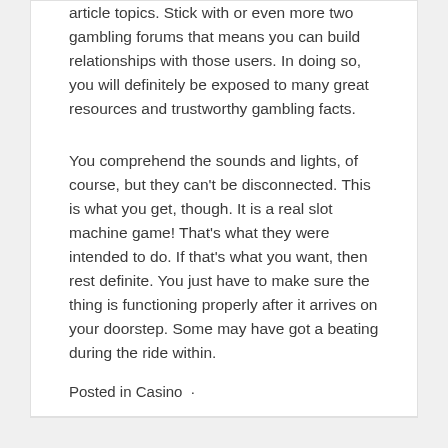article topics. Stick with or even more two gambling forums that means you can build relationships with those users. In doing so, you will definitely be exposed to many great resources and trustworthy gambling facts.
You comprehend the sounds and lights, of course, but they can't be disconnected. This is what you get, though. It is a real slot machine game! That's what they were intended to do. If that's what you want, then rest definite. You just have to make sure the thing is functioning properly after it arrives on your doorstep. Some may have got a beating during the ride within.
Posted in Casino  ·